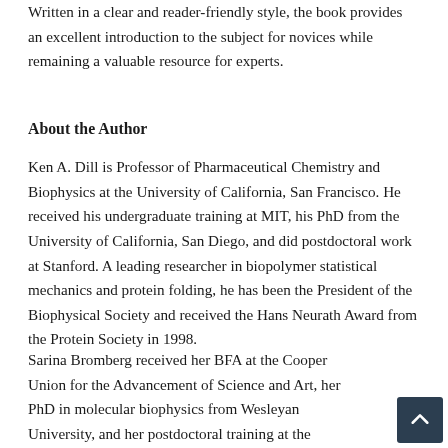Written in a clear and reader-friendly style, the book provides an excellent introduction to the subject for novices while remaining a valuable resource for experts.
About the Author
Ken A. Dill is Professor of Pharmaceutical Chemistry and Biophysics at the University of California, San Francisco. He received his undergraduate training at MIT, his PhD from the University of California, San Diego, and did postdoctoral work at Stanford. A leading researcher in biopolymer statistical mechanics and protein folding, he has been the President of the Biophysical Society and received the Hans Neurath Award from the Protein Society in 1998.
Sarina Bromberg received her BFA at the Cooper Union for the Advancement of Science and Art, her PhD in molecular biophysics from Wesleyan University, and her postdoctoral training at the University of California, San Francisco. She